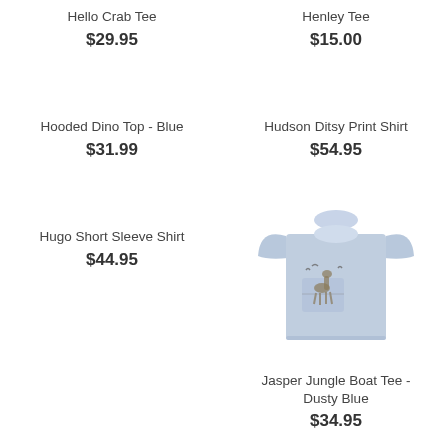Hello Crab Tee
$29.95
Henley Tee
$15.00
Hooded Dino Top - Blue
$31.99
Hudson Ditsy Print Shirt
$54.95
Hugo Short Sleeve Shirt
$44.95
[Figure (photo): Light blue short sleeve toddler t-shirt with giraffe/animal print on chest pocket]
Jasper Jungle Boat Tee - Dusty Blue
$34.95